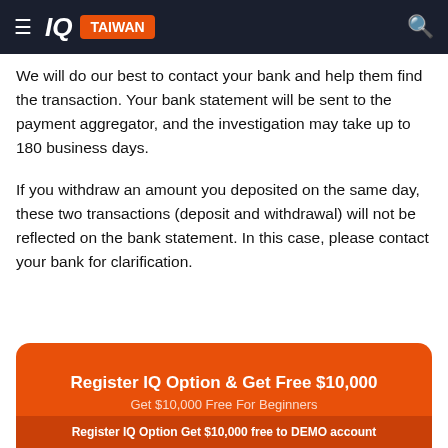IQ TAIWAN
We will do our best to contact your bank and help them find the transaction. Your bank statement will be sent to the payment aggregator, and the investigation may take up to 180 business days.
If you withdraw an amount you deposited on the same day, these two transactions (deposit and withdrawal) will not be reflected on the bank statement. In this case, please contact your bank for clarification.
[Figure (infographic): Orange CTA banner: 'Register IQ Option & Get Free $10,000' with subtitle 'Get $10,000 Free For Beginners' and footer bar 'Register IQ Option Get $10,000 free to DEMO account']